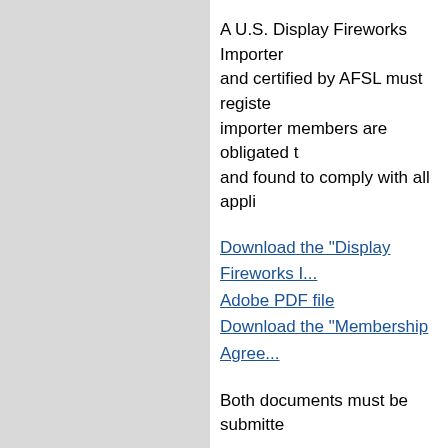A U.S. Display Fireworks Importer and certified by AFSL must register importer members are obligated to and found to comply with all appli
Download the "Display Fireworks I... Adobe PDF file
Download the "Membership Agree...
Both documents must be submitte
SHIPPER MEMBERSHIP APPLIC
Testing of display fireworks shipm... based in Hong Kong or mainland C... become a registered AFSL Shipper
Download the "Display Fireworks S... an Adobe PDF file
Download the "Membership Agree...